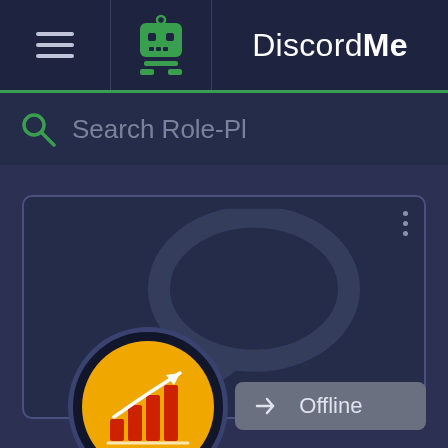[Figure (screenshot): DiscordMe website navigation bar with hamburger menu, robot icon, and DiscordMe logo text]
Search Role-Pl
[Figure (screenshot): Discord server card with chat bubble watermark background, server growth icon (bar chart with arrow), and Offline join button]